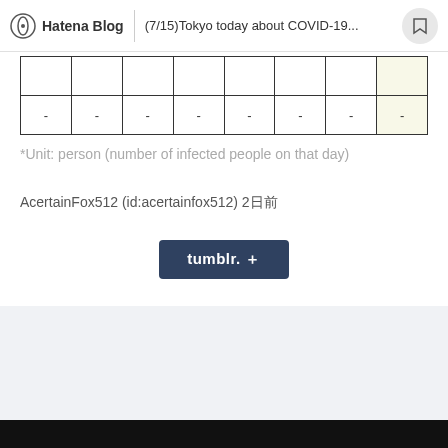Hatena Blog | (7/15)Tokyo today about COVID-19...
|  |  |  |  |  |  |  |  |
| --- | --- | --- | --- | --- | --- | --- | --- |
| - | - | - | - | - | - | - | - |
*Unit: person (number of infected people on that day)
AcertainFox512 (id:acertainfox512) 2日前
[Figure (other): Tumblr share button]